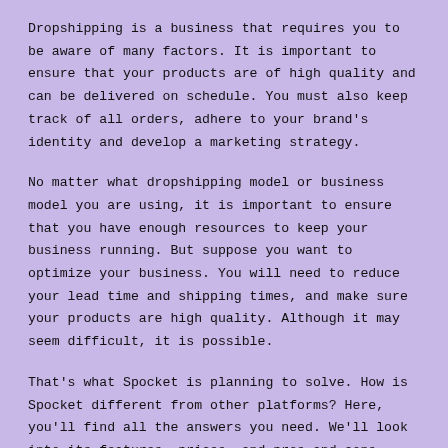Dropshipping is a business that requires you to be aware of many factors. It is important to ensure that your products are of high quality and can be delivered on schedule. You must also keep track of all orders, adhere to your brand's identity and develop a marketing strategy.
No matter what dropshipping model or business model you are using, it is important to ensure that you have enough resources to keep your business running. But suppose you want to optimize your business. You will need to reduce your lead time and shipping times, and make sure your products are high quality. Although it may seem difficult, it is possible.
That's what Spocket is planning to solve. How is Spocket different from other platforms? Here, you'll find all the answers you need. We'll look into its features, prices, and pros and cons. We'll help you figure out if Spocket is right for your business.
Not an avid reader? We got you covered! Check out this video by Knowledge by Marcus on YouTube – they also delve into Spocket's